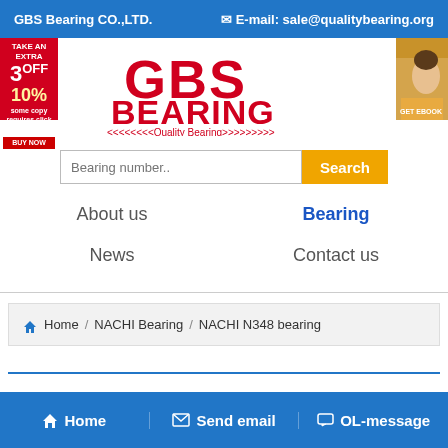GBS Bearing CO.,LTD.   E-mail: sale@qualitybearing.org
[Figure (logo): GBS Bearing logo with red bold text 'GBS BEARING' and tagline '<<<<<<<<Quality Bearing>>>>>>>>>']
[Figure (other): Left sidebar ad: TAKE AN EXTRA 3 OFF 10% with red background and button BUY NOW]
[Figure (photo): Right sidebar ad: partial photo of a woman's face on golden/orange background]
Bearing number..
Search
About us
Bearing
News
Contact us
Home / NACHI Bearing / NACHI N348 bearing
Home   Send email   OL-message